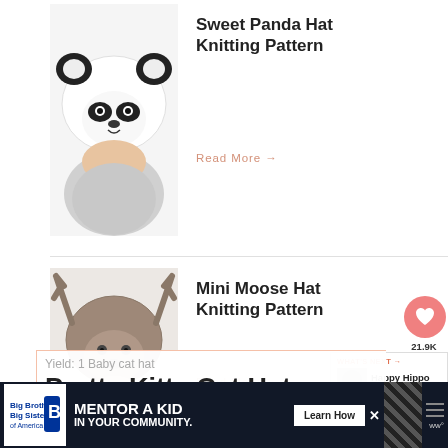[Figure (photo): Baby wearing a knitted white panda hat with black ears and face details]
Sweet Panda Hat Knitting Pattern
Read More →
[Figure (photo): Baby wearing a knitted grey moose hat with antlers]
Mini Moose Hat Knitting Pattern
Read More →
21.9K
WHAT'S NEXT → Happy Hippo Hat Knitting...
Yield: 1 Baby cat hat
Pretty Kitty Cat Hat
[Figure (infographic): Advertisement banner: Big Brothers Big Sisters - MENTOR A KID IN YOUR COMMUNITY. Learn How button.]